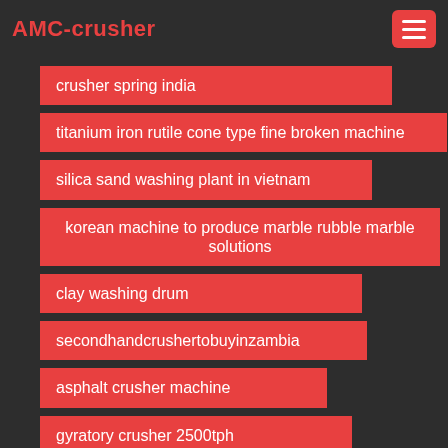AMC-crusher
crusher spring india
titanium iron rutile cone type fine broken machine
silica sand washing plant in vietnam
korean machine to produce marble rubble marble solutions
clay washing drum
secondhandcrushertobuyinzambia
asphalt crusher machine
gyratory crusher 2500tph
cone crusher discharge opening to adjust